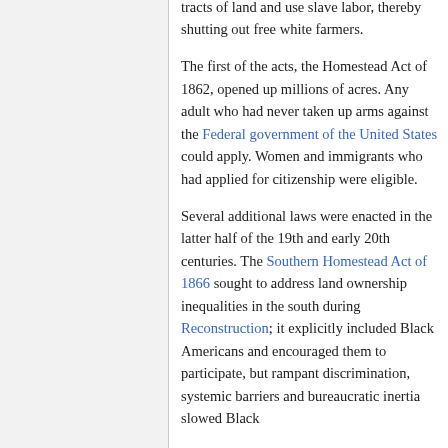tracts of land and use slave labor, thereby shutting out free white farmers.
The first of the acts, the Homestead Act of 1862, opened up millions of acres. Any adult who had never taken up arms against the Federal government of the United States could apply. Women and immigrants who had applied for citizenship were eligible.
Several additional laws were enacted in the latter half of the 19th and early 20th centuries. The Southern Homestead Act of 1866 sought to address land ownership inequalities in the south during Reconstruction; it explicitly included Black Americans and encouraged them to participate, but rampant discrimination, systemic barriers and bureaucratic inertia slowed Black